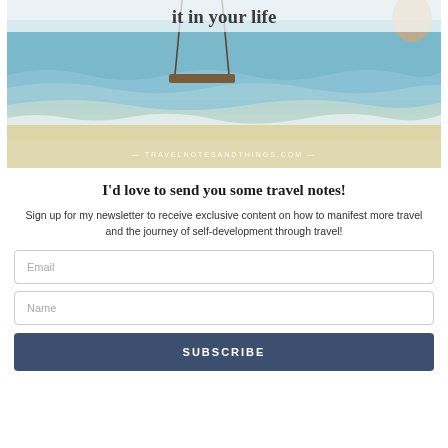[Figure (photo): Beach scene with ocean waves, sandy shore, and a wooden swing hanging from ropes. White semi-transparent overlay at top with partial bold text visible. Website watermark 'TRAVELNOTESANDTHINGS.COM' displayed at the bottom of the image.]
I'd love to send you some travel notes!
Sign up for my newsletter to receive exclusive content on how to manifest more travel and the journey of self-development through travel!